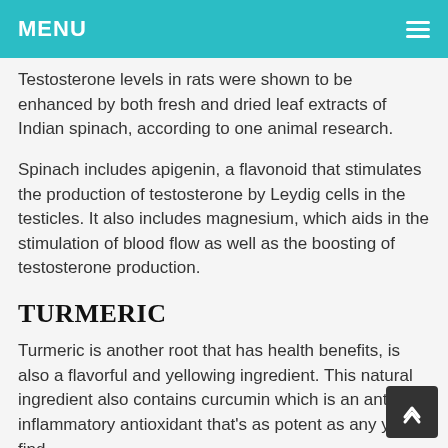MENU
Testosterone levels in rats were shown to be enhanced by both fresh and dried leaf extracts of Indian spinach, according to one animal research.
Spinach includes apigenin, a flavonoid that stimulates the production of testosterone by Leydig cells in the testicles. It also includes magnesium, which aids in the stimulation of blood flow as well as the boosting of testosterone production.
TURMERIC
Turmeric is another root that has health benefits, is also a flavorful and yellowing ingredient. This natural ingredient also contains curcumin which is an anti-inflammatory antioxidant that's as potent as any you'll find.